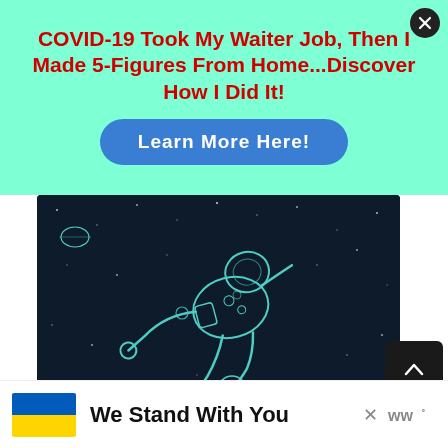[Figure (screenshot): Advertisement banner with mint/aqua background. Bold red text headline: 'COVID-19 Took My Waiter Job, Then I Made 5-Figures From Home...Discover How I Did It!' with a blue rounded button labeled 'Learn More Here!'. A close (X) button in the top right corner.]
[Figure (illustration): Dark space illustration on dark navy/black background showing a floating astronaut in a spacesuit drawn in teal/cyan line art style, with small planets and stars scattered around.]
[Figure (screenshot): Bottom advertisement bar showing a Ukrainian flag (blue and yellow), the text 'We Stand With You', a close X button, and what appears to be a WW (Weight Watchers) logo.]